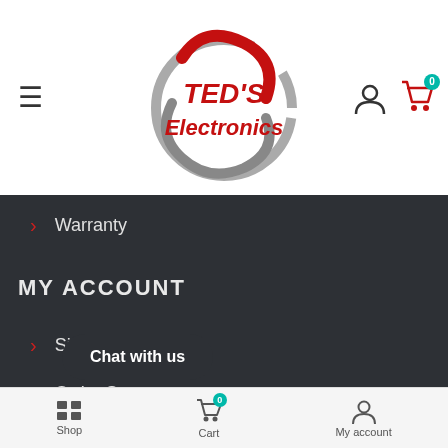[Figure (logo): TED'S Electronics logo with circular swoosh design in red and gray]
Warranty
MY ACCOUNT
Sign In
Order Status
My Wishlist
View Cart
GR
Chat with us
Shop   Cart   My account